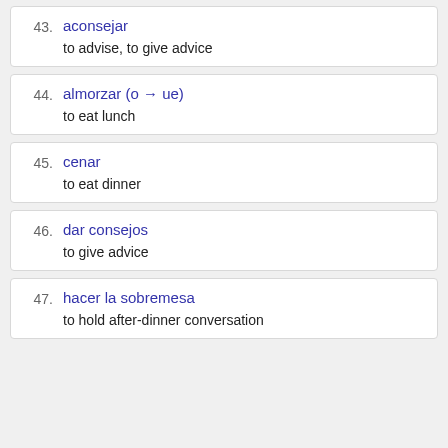43. aconsejar — to advise, to give advice
44. almorzar (o → ue) — to eat lunch
45. cenar — to eat dinner
46. dar consejos — to give advice
47. hacer la sobremesa — to hold after-dinner conversation